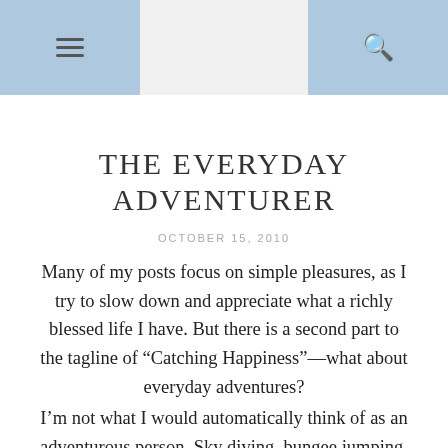THE EVERYDAY ADVENTURER — Navigation bar with hamburger menu and search icon
THE EVERYDAY ADVENTURER
OCTOBER 15, 2010
Many of my posts focus on simple pleasures, as I try to slow down and appreciate what a richly blessed life I have. But there is a second part to the tagline of “Catching Happiness”—what about everyday adventures?
I’m not what I would automatically think of as an adventurous person. Sky diving, bungee jumping, sailing around